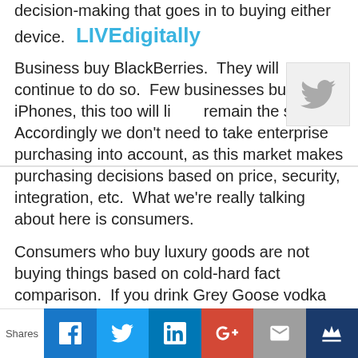device. As more important to think about the decision-making that goes in to buying either device.
LIVEdigitally
Business buy BlackBerries. They will continue to do so. Few businesses buy iPhones, this too will likely remain the same. Accordingly we don't need to take enterprise purchasing into account, as this market makes purchasing decisions based on price, security, integration, etc. What we're really talking about here is consumers.
Consumers who buy luxury goods are not buying things based on cold-hard fact comparison. If you drink Grey Goose vodka or use Kiehl's skincare products or purchase Infiniti cars, odds are pretty good you do a lot less "comparison shopping" than you do when buying mainstream products (btw, for more on this I recommend reading "Trading Up").
[Figure (logo): Twitter bird icon widget in top right corner]
Shares | Facebook | Twitter | LinkedIn | Google+ | Email | Crown icon